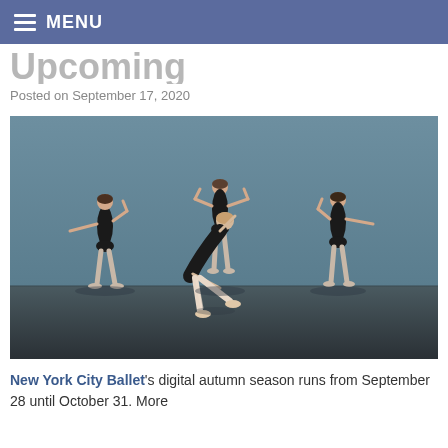MENU
Upcoming
Posted on September 17, 2020
[Figure (photo): Four ballet dancers in black leotards performing on stage. One dancer in the center foreground is in a deep side bend with one leg extended on pointe, while three dancers stand behind in pose with arms outstretched. The backdrop is a muted blue-grey.]
New York City Ballet's digital autumn season runs from September 28 until October 31. More